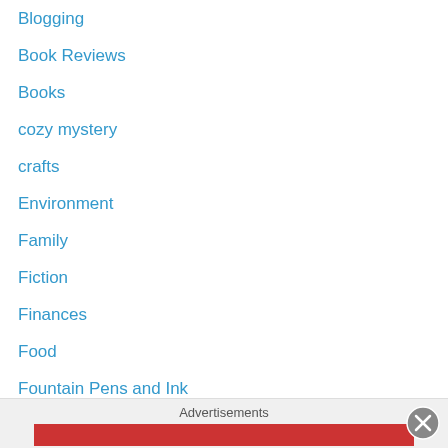Blogging
Book Reviews
Books
cozy mystery
crafts
Environment
Family
Fiction
Finances
Food
Fountain Pens and Ink
freelancing
Games
ghostwriting
Giveaways
Guest Posts
Halloween
Holidays
iPen
Advertisements